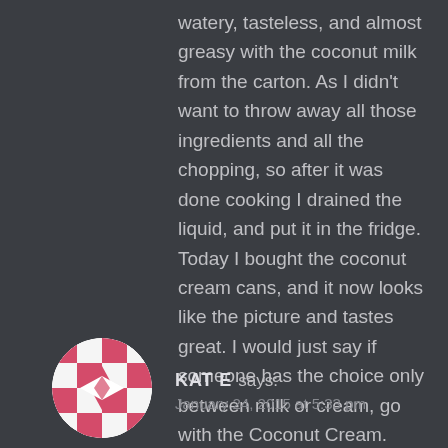watery, tasteless, and almost greasy with the coconut milk from the carton. As I didn't want to throw away all those ingredients and all the chopping, so after it was done cooking I drained the liquid, and put it in the fridge. Today I bought the coconut cream cans, and it now looks like the picture and tastes great. I would just say if someone has the choice only between milk or cream, go with the Coconut Cream.
[Figure (illustration): Circular avatar image with a pink/red and white quilt or geometric pattern design]
KATE says: January 24, 2015 at 5:33 pm